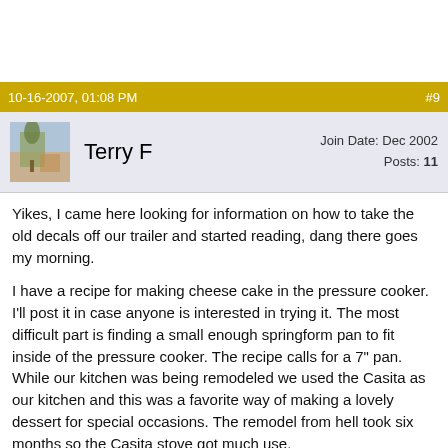10-16-2007, 01:08 PM    #9
Terry F    Join Date: Dec 2002  Posts: 11
Yikes, I came here looking for information on how to take the old decals off our trailer and started reading, dang there goes my morning.
I have a recipe for making cheese cake in the pressure cooker. I'll post it in case anyone is interested in trying it. The most difficult part is finding a small enough springform pan to fit inside of the pressure cooker. The recipe calls for a 7" pan. While our kitchen was being remodeled we used the Casita as our kitchen and this was a favorite way of making a lovely dessert for special occasions. The remodel from hell took six months so the Casita stove got much use.
Pressure Cooker Lemon Cheesecake